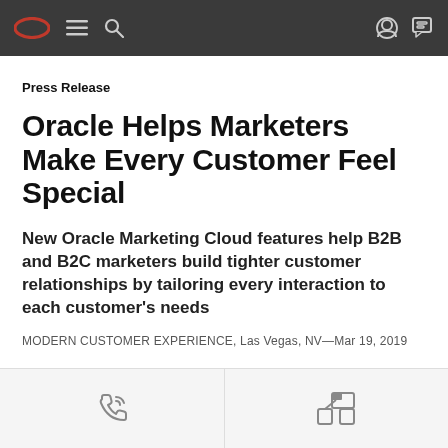Oracle navigation bar with logo, menu, search, account and chat icons
Press Release
Oracle Helps Marketers Make Every Customer Feel Special
New Oracle Marketing Cloud features help B2B and B2C marketers build tighter customer relationships by tailoring every interaction to each customer's needs
MODERN CUSTOMER EXPERIENCE, Las Vegas, NV—Mar 19, 2019
Bottom navigation bar with phone and share icons